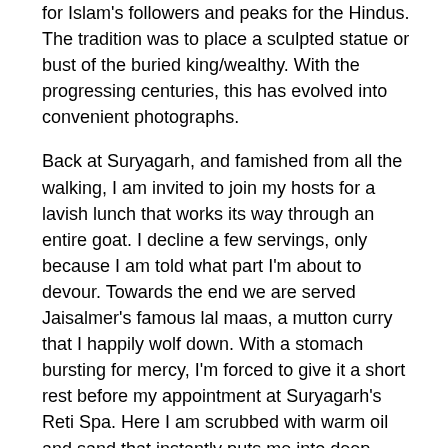for Islam's followers and peaks for the Hindus. The tradition was to place a sculpted statue or bust of the buried king/wealthy. With the progressing centuries, this has evolved into convenient photographs.
Back at Suryagarh, and famished from all the walking, I am invited to join my hosts for a lavish lunch that works its way through an entire goat. I decline a few servings, only because I am told what part I'm about to devour. Towards the end we are served Jaisalmer's famous lal maas, a mutton curry that I happily wolf down. With a stomach bursting for mercy, I'm forced to give it a short rest before my appointment at Suryagarh's Reti Spa. Here I am scrubbed with warm oil and sand that instantly puts me into deep slumber.
One siesta later it is time for the second part of my sightseeing. I am sent off on Suryagarh's bespoke chudail trail – one that leads to haunted spots. With a brave face and a façade of confidence I hop into the car that drives me in complete